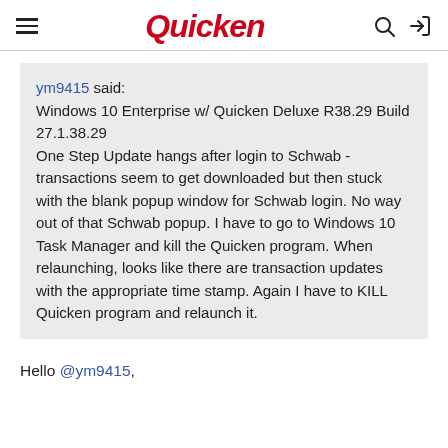Quicken
ym9415 said:
Windows 10 Enterprise w/ Quicken Deluxe R38.29 Build 27.1.38.29
One Step Update hangs after login to Schwab - transactions seem to get downloaded but then stuck with the blank popup window for Schwab login. No way out of that Schwab popup. I have to go to Windows 10 Task Manager and kill the Quicken program. When relaunching, looks like there are transaction updates with the appropriate time stamp. Again I have to KILL Quicken program and relaunch it.
Hello @ym9415,